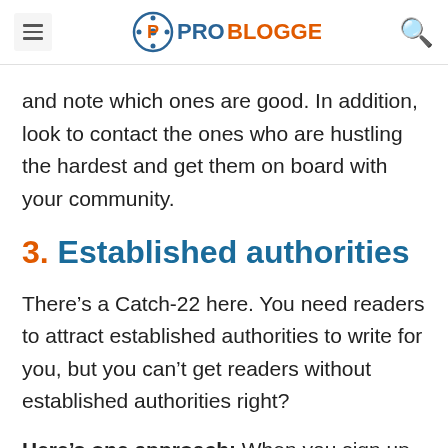ProBlogger
and note which ones are good. In addition, look to contact the ones who are hustling the hardest and get them on board with your community.
3. Established authorities
There’s a Catch-22 here. You need readers to attract established authorities to write for you, but you can’t get readers without established authorities right?
Here’s one approach: When you sign up for my